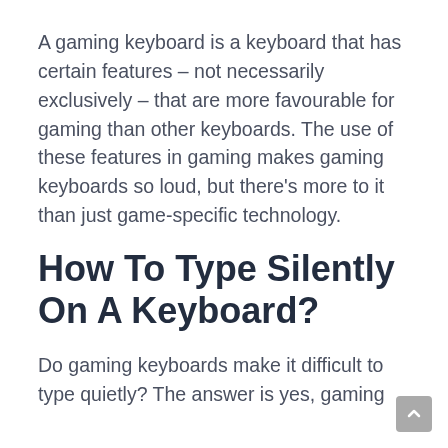A gaming keyboard is a keyboard that has certain features – not necessarily exclusively – that are more favourable for gaming than other keyboards. The use of these features in gaming makes gaming keyboards so loud, but there's more to it than just game-specific technology.
How To Type Silently On A Keyboard?
Do gaming keyboards make it difficult to type quietly? The answer is yes, gaming